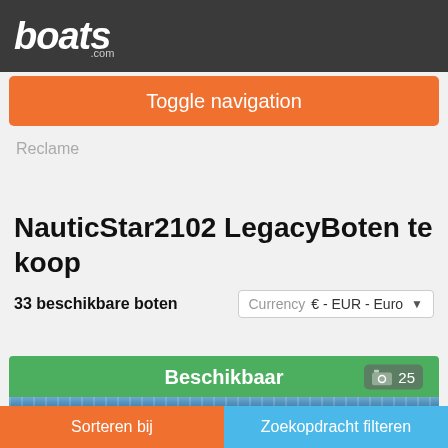[Figure (logo): boats.com logo in white italic bold text on dark grey header bar]
Toggle navigation
Reclame
NauticStar2102 LegacyBoten te koop
33 beschikbare boten
Currency  € - EUR - Euro
Beschikbaar  25
[Figure (photo): Partial view of a blue boat hull image strip]
Sorteren bij
Zoekopdracht filteren